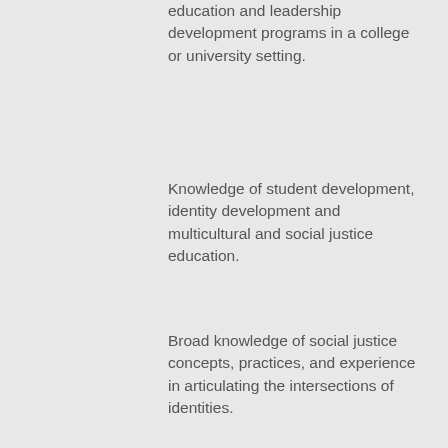education and leadership development programs in a college or university setting.
Knowledge of student development, identity development and multicultural and social justice education.
Broad knowledge of social justice concepts, practices, and experience in articulating the intersections of identities.
Cultural competency to advocate on behalf of historically underrepresented and underserved communities.
Experience with fiscal and